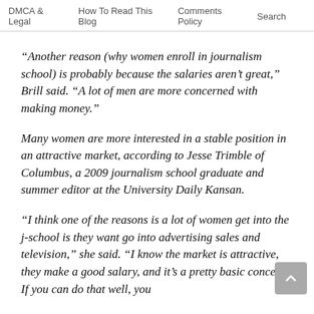DMCA & Legal   How To Read This Blog   Comments Policy   Search
“Another reason (why women enroll in journalism school) is probably because the salaries aren’t great,” Brill said. “A lot of men are more concerned with making money.”
Many women are more interested in a stable position in an attractive market, according to Jesse Trimble of Columbus, a 2009 journalism school graduate and summer editor at the University Daily Kansan.
“I think one of the reasons is a lot of women get into the j-school is they want go into advertising sales and television,” she said. “I know the market is attractive, they make a good salary, and it’s a pretty basic concept. If you can do that well, you